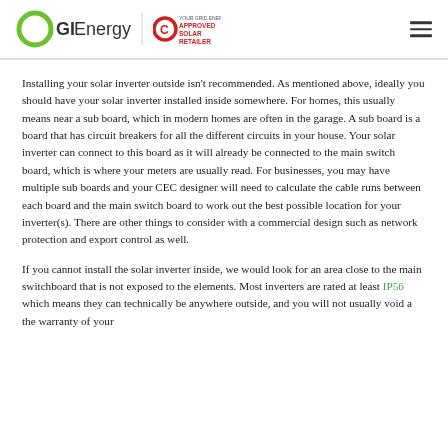GIEnergy | Approved Solar Retailer
Installing your solar inverter outside isn't recommended. As mentioned above, ideally you should have your solar inverter installed inside somewhere. For homes, this usually means near a sub board, which in modern homes are often in the garage. A sub board is a board that has circuit breakers for all the different circuits in your house. Your solar inverter can connect to this board as it will already be connected to the main switch board, which is where your meters are usually read. For businesses, you may have multiple sub boards and your CEC designer will need to calculate the cable runs between each board and the main switch board to work out the best possible location for your inverter(s). There are other things to consider with a commercial design such as network protection and export control as well.
If you cannot install the solar inverter inside, we would look for an area close to the main switchboard that is not exposed to the elements. Most inverters are rated at least IP56 which means they can technically be anywhere outside, and you will not usually void a the warranty of your